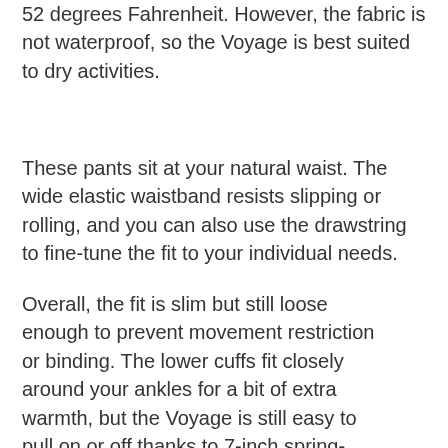52 degrees Fahrenheit. However, the fabric is not waterproof, so the Voyage is best suited to dry activities.
These pants sit at your natural waist. The wide elastic waistband resists slipping or rolling, and you can also use the drawstring to fine-tune the fit to your individual needs.
Overall, the fit is slim but still loose enough to prevent movement restriction or binding. The lower cuffs fit closely around your ankles for a bit of extra warmth, but the Voyage is still easy to pull on or off thanks to 7-inch spring-locked ankle zippers.